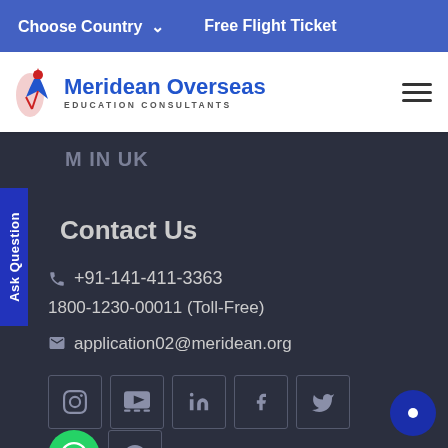Choose Country ∨   Free Flight Ticket
[Figure (logo): Meridean Overseas Education Consultants logo with blue text and figure icon]
M IN UK
Contact Us
+91-141-411-3363
1800-1230-00011 (Toll-Free)
application02@meridean.org
[Figure (infographic): Social media icons: Instagram, YouTube, LinkedIn, Facebook, Twitter, Quora in bordered square boxes; WhatsApp green circle button; chat circle button bottom right]